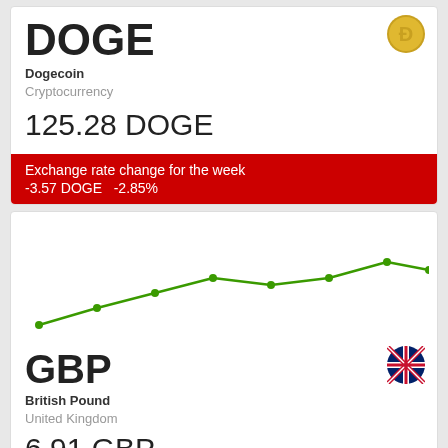DOGE
Dogecoin
Cryptocurrency
125.28 DOGE
Exchange rate change for the week
-3.57 DOGE   -2.85%
[Figure (line-chart): DOGE/GBP weekly exchange rate]
GBP
British Pound
United Kingdom
6.91 GBP
Exchange rate change for the week